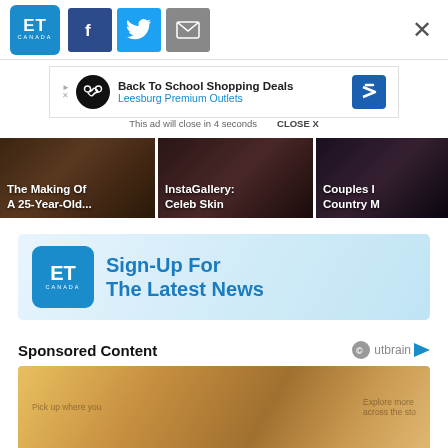[Figure (screenshot): ET Canada website header with ET Canada logo, Facebook, Twitter, and email share buttons, and an X close button]
[Figure (screenshot): Advertisement banner: Back To School Shopping Deals – Leesburg Premium Outlets, with AdChoices icon, infinity-loop logo, and blue arrow navigation icon. Below: 'This ad will close in 4 seconds   CLOSE X']
[Figure (screenshot): Three content cards: 'The Making Of A 25-Year-Old...', 'InstaGallery: Celeb Skin', and partially visible 'Couples [I] Country M[usic]']
[Figure (screenshot): ET Canada Sign-Up For The Latest News banner with ET Canada logo on light blue gradient background]
Sponsored Content
[Figure (screenshot): Outbrain logo (circle with ©/outbrain icon and play arrow)]
[Figure (photo): Bottom partial image showing tablet/book with text 'Pick up where you' and 'Explore more across the sto[ry]']